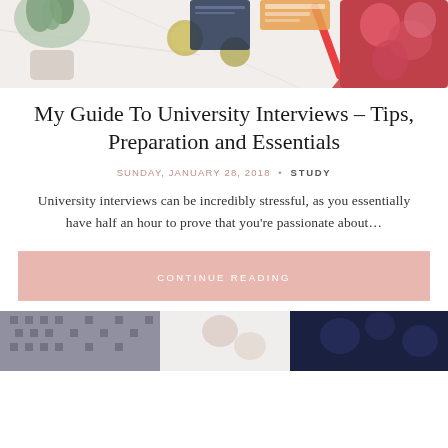[Figure (photo): Flatlay photo showing a plant, coins, orange/red pen, a floral-patterned notebook, and travel tickets on a white marble surface — cropped to show only the top portion]
My Guide To University Interviews – Tips, Preparation and Essentials
SUNDAY, JANUARY 28, 2018 • STUDY
University interviews can be incredibly stressful, as you essentially have half an hour to prove that you're passionate about…
CONTINUE READING
[Figure (photo): Bottom partial photo showing fabric/clothing textures and floral elements — cropped, only top edge visible]